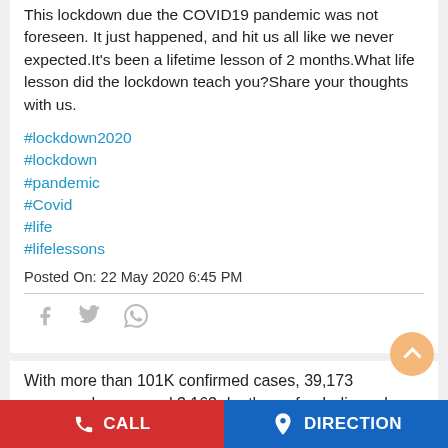This lockdown due the COVID19 pandemic was not foreseen. It just happened, and hit us all like we never expected.It's been a lifetime lesson of 2 months.What life lesson did the lockdown teach you?Share your thoughts with us.
#lockdown2020
#lockdown
#pandemic
#Covid
#life
#lifelessons
Posted On: 22 May 2020 6:45 PM
With more than 101K confirmed cases, 39,173 recovered cases and 3,163 deaths so far, India ranks 11th in the list of world's worst affected